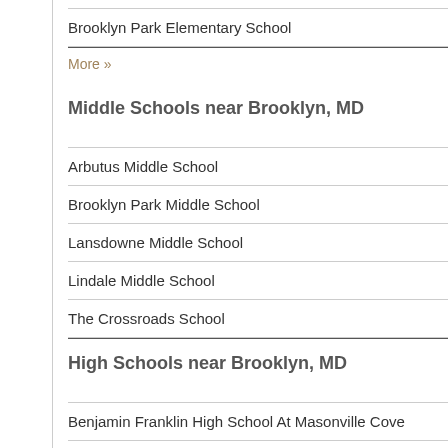Brooklyn Park Elementary School
More »
Middle Schools near Brooklyn, MD
Arbutus Middle School
Brooklyn Park Middle School
Lansdowne Middle School
Lindale Middle School
The Crossroads School
High Schools near Brooklyn, MD
Benjamin Franklin High School At Masonville Cove
Lansdowne High & Academy Of Finance